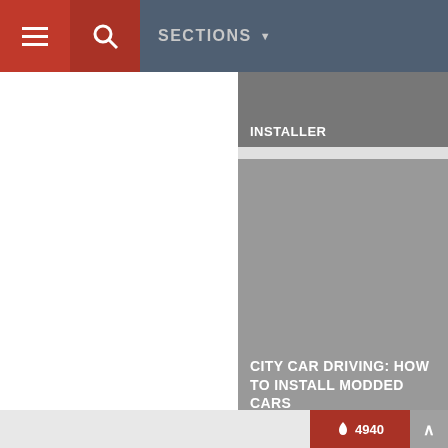SECTIONS
[Figure (screenshot): Website navigation bar with hamburger menu, search icon, and SECTIONS dropdown]
[Figure (screenshot): Card thumbnail with label INSTALLER]
[Figure (screenshot): Card thumbnail with label: CITY CAR DRIVING: HOW TO INSTALL MODDED CARS]
This website uses cookies to ensure you get the best experience on our website. If you decide to continue browsing this website, you automatically agree to our
Privacy Policy
Got it!